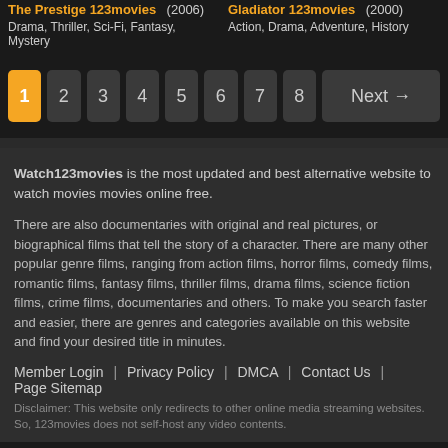The Prestige 123movies (2006) Drama, Thriller, Sci-Fi, Fantasy, Mystery
Gladiator 123movies (2000) Action, Drama, Adventure, History
1 2 3 4 5 6 7 8 Next →
Watch123movies is the most updated and best alternative website to watch movies movies online free.
There are also documentaries with original and real pictures, or biographical films that tell the story of a character. There are many other popular genre films, ranging from action films, horror films, comedy films, romantic films, fantasy films, thriller films, drama films, science fiction films, crime films, documentaries and others. To make you search faster and easier, there are genres and categories available on this website and find your desired title in minutes.
Member Login | Privacy Policy | DMCA | Contact Us | Page Sitemap
Disclaimer: This website only redirects to other online media streaming websites. So, 123movies does not self-host any video contents.